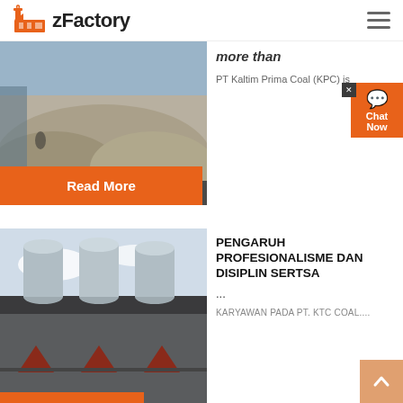zFactory
[Figure (photo): Industrial site with gravel/sand mounds, workers and machinery visible]
more than
PT Kaltim Prima Coal (KPC) is
Read More
[Figure (other): Chat Now widget button with speech bubble icon]
[Figure (photo): Industrial factory building with large cylindrical silos and warehouse structure]
PENGARUH PROFESIONALISME DAN DISIPLIN SERTSA
...
KARYAWAN PADA PT. KTC COAL....